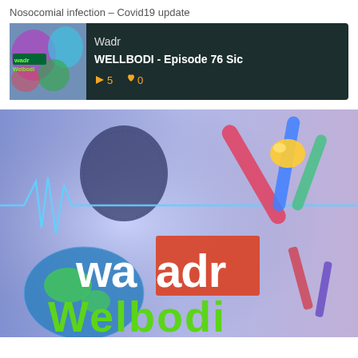Nosocomial infection – Covid19 update
[Figure (screenshot): Podcast player card for Wadr Wellbodi showing episode title 'WELLBODI - Episode 76 Sic' with thumbnail, 5 plays and 0 likes on dark background]
[Figure (illustration): Wadr Wellbodi podcast cover art showing a stylized figure with a globe, EKG heartbeat line, medical imagery (syringes, test tubes) on blue/purple background, with 'waadr' logo in white/red text and 'Welbodi' in green text]